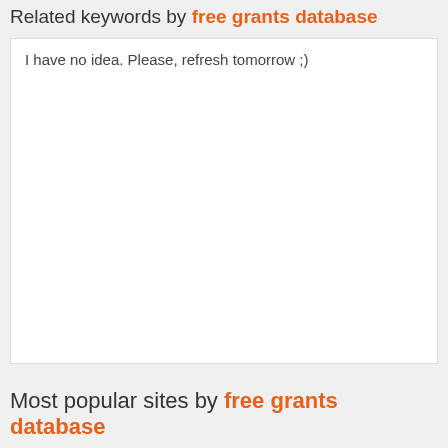Related keywords by free grants database
I have no idea. Please, refresh tomorrow ;)
Most popular sites by free grants database
Sorry. Not enough data. Please, refresh tomorrow ;) Thank you!